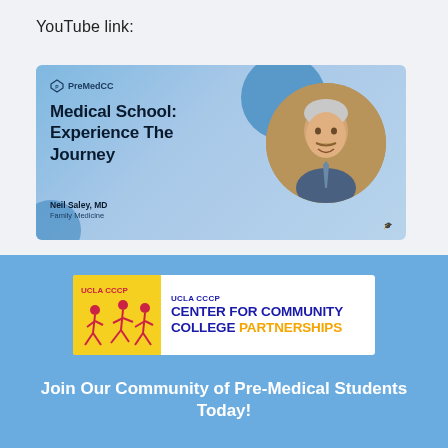YouTube link:
[Figure (screenshot): YouTube thumbnail for 'Medical School: Experience The Journey' by Neil Saley, MD, Family Medicine. PreMedCC branding with blue gradient background, decorative circles, and circular photo of a middle-aged man smiling.]
[Figure (logo): UCLA CCCP Center for Community College Partnerships logo — yellow left panel with dancer silhouettes, blue/orange text on white background.]
Join Our Community of Pre-Medical Students Today!